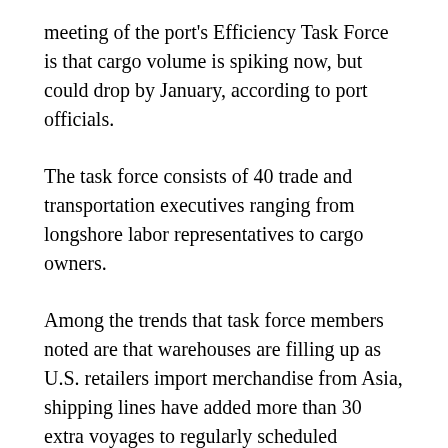meeting of the port's Efficiency Task Force is that cargo volume is spiking now, but could drop by January, according to port officials.
The task force consists of 40 trade and transportation executives ranging from longshore labor representatives to cargo owners.
Among the trends that task force members noted are that warehouses are filling up as U.S. retailers import merchandise from Asia, shipping lines have added more than 30 extra voyages to regularly scheduled transpacific services to transport larger container volumes and ports up and down the West Coast have reported unprecedented cargo volume growth since mid-summer.